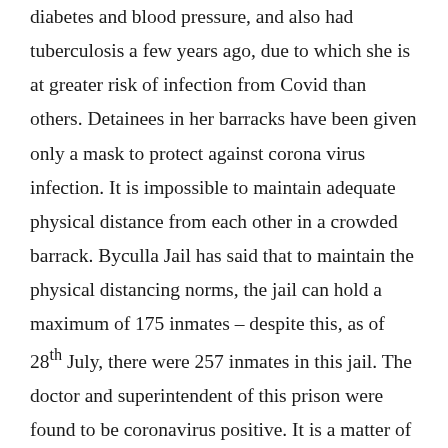diabetes and blood pressure, and also had tuberculosis a few years ago, due to which she is at greater risk of infection from Covid than others. Detainees in her barracks have been given only a mask to protect against corona virus infection. It is impossible to maintain adequate physical distance from each other in a crowded barrack. Byculla Jail has said that to maintain the physical distancing norms, the jail can hold a maximum of 175 inmates – despite this, as of 28th July, there were 257 inmates in this jail. The doctor and superintendent of this prison were found to be coronavirus positive. It is a matter of surprise that even after 11 hearing dates in two and a half months on Sudha's special bail petition, a decision has not been